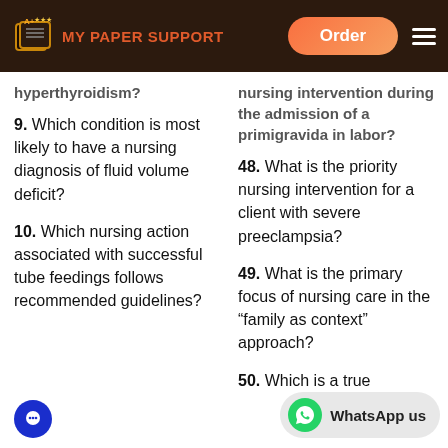MY PAPER SUPPORT | Order
hyperthyroidism?
9. Which condition is most likely to have a nursing diagnosis of fluid volume deficit?
10. Which nursing action associated with successful tube feedings follows recommended guidelines?
nursing intervention during the admission of a primigravida in labor?
48. What is the priority nursing intervention for a client with severe preeclampsia?
49. What is the primary focus of nursing care in the “family as context” approach?
50. Which is a true